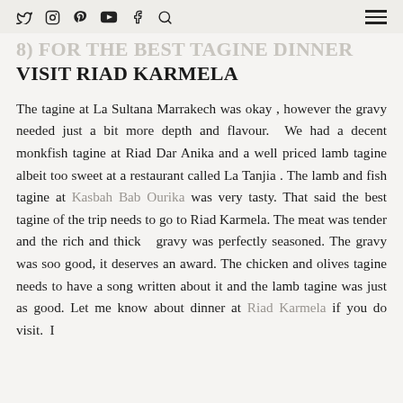social icons: twitter, instagram, pinterest, youtube, facebook, search; hamburger menu
8) FOR THE BEST TAGINE DINNER VISIT RIAD KARMELA
The tagine at La Sultana Marrakech was okay , however the gravy needed just a bit more depth and flavour.  We had a decent monkfish tagine at Riad Dar Anika and a well priced lamb tagine albeit too sweet at a restaurant called La Tanjia . The lamb and fish tagine at Kasbah Bab Ourika was very tasty. That said the best tagine of the trip needs to go to Riad Karmela. The meat was tender and the rich and thick  gravy was perfectly seasoned. The gravy was soo good, it deserves an award. The chicken and olives tagine needs to have a song written about it and the lamb tagine was just as good. Let me know about dinner at Riad Karmela if you do visit.  I